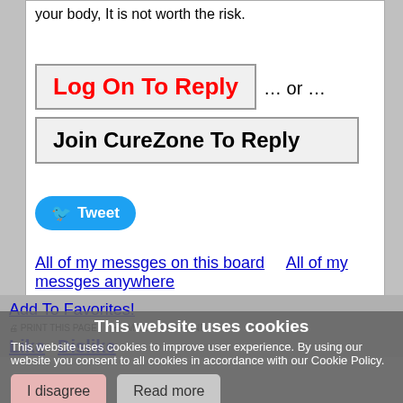your body, It is not worth the risk.
Log On To Reply … or … Join CureZone To Reply
Tweet
All of my messges on this board    All of my messges anywhere
Add To Favorites!
PRINT THIS PAGE   EMRIL TO A FRIEND
Like  Dislike
This website uses cookies
This website uses cookies to improve user experience. By using our website you consent to all cookies in accordance with our Cookie Policy.
I disagree   Read more
Alert Moderators
Alert: Bad Message   Alert: Good Message